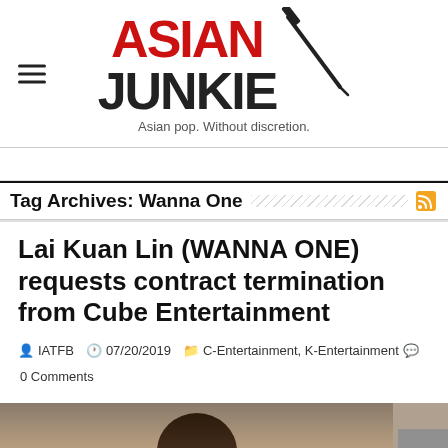[Figure (logo): Asian Junkie logo with red 'ASIAN' text, black 'JUNKIE' text, syringe needle graphic, and tagline 'Asian pop. Without discretion.']
Tag Archives: Wanna One
Lai Kuan Lin (WANNA ONE) requests contract termination from Cube Entertainment
IATFB  07/20/2019  C-Entertainment, K-Entertainment  0 Comments
[Figure (photo): Partial photo of a person, bottom portion visible, with scroll-to-top button in bottom right corner]